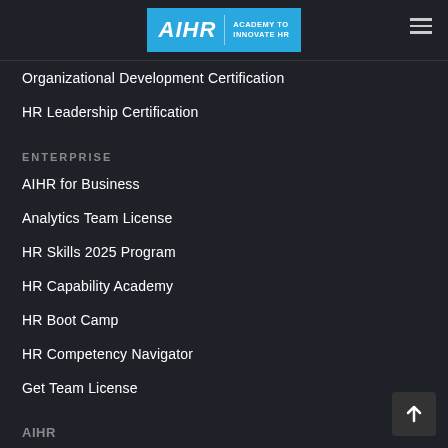[Figure (logo): AIHR Academy to Innovate HR logo on teal/blue background with hamburger menu icon]
Organizational Development Certification
HR Leadership Certification
ENTERPRISE
AIHR for Business
Analytics Team License
HR Skills 2025 Program
HR Capability Academy
HR Boot Camp
HR Competency Navigator
Get Team License
AIHR